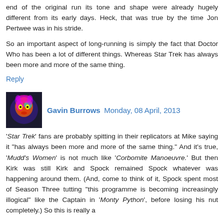end of the original run its tone and shape were already hugely different from its early days. Heck, that was true by the time Jon Pertwee was in his stride.
So an important aspect of long-running is simply the fact that Doctor Who has been a lot of different things. Whereas Star Trek has always been more and more of the same thing.
Reply
Gavin Burrows  Monday, 08 April, 2013
'Star Trek' fans are probably spitting in their replicators at Mike saying it "has always been more and more of the same thing." And it's true, 'Mudd's Women' is not much like 'Corbomite Manoeuvre.' But then Kirk was still Kirk and Spock remained Spock whatever was happening around them. (And, come to think of it, Spock spent most of Season Three tutting "this programme is becoming increasingly illogical" like the Captain in 'Monty Python', before losing his nut completely.) So this is really a